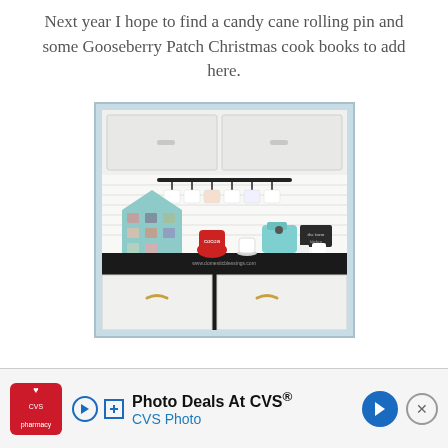Next year I hope to find a candy cane rolling pin and some Gooseberry Patch Christmas cook books to add here.
[Figure (photo): A kitchen counter decorated for Christmas, showing a mint/teal house-shaped shelf holding ornaments and mugs, a red cocoa pot, a teal Keurig-style coffee maker, mugs hanging from a black bar rail on a white shiplap wall, white cabinets above and below, and a black granite countertop.]
Photo Deals At CVS® CVS Photo